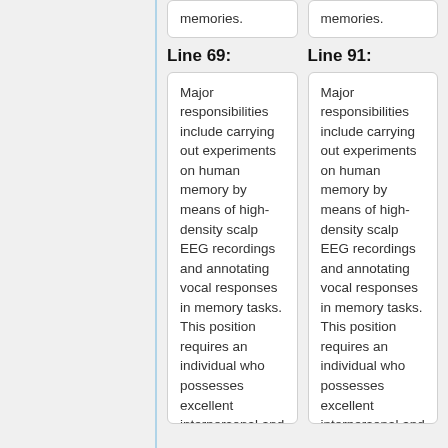memories.
memories.
Line 69:
Line 91:
Major responsibilities include carrying out experiments on human memory by means of high-density scalp EEG recordings and annotating vocal responses in memory tasks. This position requires an individual who possesses excellent interpersonal and organizational
Major responsibilities include carrying out experiments on human memory by means of high-density scalp EEG recordings and annotating vocal responses in memory tasks. This position requires an individual who possesses excellent interpersonal and organizational